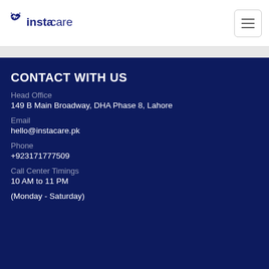[Figure (logo): InstaCare logo with heart/waveform icon and text 'instacare']
CONTACT WITH US
Head Office
149 B Main Broadway, DHA Phase 8, Lahore
Email
hello@instacare.pk
Phone
+923171777509
Call Center Timings
10 AM to 11 PM
(Monday - Saturday)